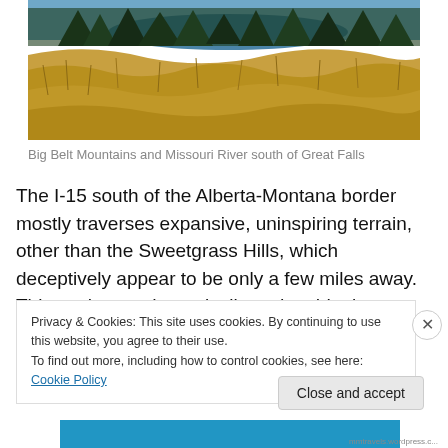[Figure (photo): Landscape photo of Big Belt Mountains and Missouri River south of Great Falls. Shows golden dry grasses in foreground, dark green pine trees and a glimpse of blue water in the background under a bright sky.]
Big Belt Mountains and Missouri River south of Great Falls
The I-15 south of the Alberta-Montana border mostly traverses expansive, uninspiring terrain, other than the Sweetgrass Hills, which deceptively appear to be only a few miles away. Things change dramatically and suddenly
Privacy & Cookies: This site uses cookies. By continuing to use this website, you agree to their use.
To find out more, including how to control cookies, see here: Cookie Policy
Close and accept